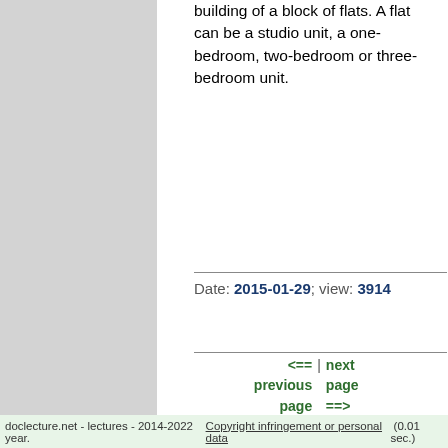building of a block of flats. A flat can be a studio unit, a one-bedroom, two-bedroom or three-bedroom unit.
Date: 2015-01-29; view: 3914
<== previous page | next page ==> Travelling | Tell me about the house/flat you live in.
doclecture.net - lectures - 2014-2022 year. Copyright infringement or personal data (0.01 sec.)